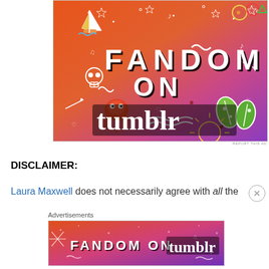[Figure (illustration): Fandom on Tumblr advertisement banner with colorful orange-to-purple gradient background, doodle illustrations of a sailboat, skull, octopus, leaves, celestial objects, and bold text reading 'FANDOM ON tumblr']
REPORT THIS AD
DISCLAIMER:
Laura Maxwell does not necessarily agree with all the
Advertisements
[Figure (illustration): Smaller Fandom on Tumblr advertisement banner with similar colorful gradient and text 'FANDOM ON tumblr']